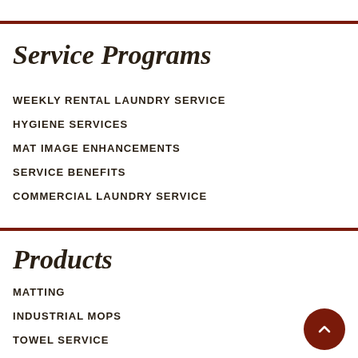Service Programs
WEEKLY RENTAL LAUNDRY SERVICE
HYGIENE SERVICES
MAT IMAGE ENHANCEMENTS
SERVICE BENEFITS
COMMERCIAL LAUNDRY SERVICE
Products
MATTING
INDUSTRIAL MOPS
TOWEL SERVICE